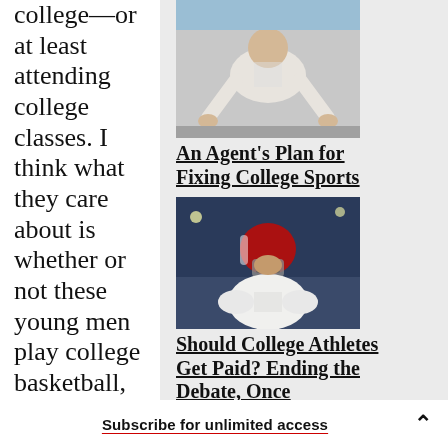college—or at least attending college classes. I think what they care about is whether or not these young men play college basketball, and I think what they would like is to have the NBA's
[Figure (photo): Athlete in white uniform in a crouched position on a court floor]
An Agent's Plan for Fixing College Sports
[Figure (photo): Football player in helmet and white uniform]
Should College Athletes Get Paid? Ending the Debate, Once
Subscribe for unlimited access